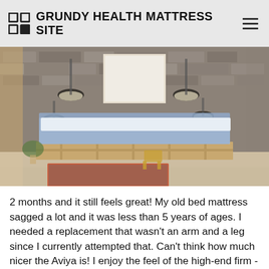GRUNDY HEALTH MATTRESS SITE
[Figure (photo): A bedroom with a stone wall background, pendant lights, a bed with blue/grey mattress on a wooden pallet frame, plants, and a colorful rug on a light wood floor.]
2 months and it still feels great! My old bed mattress sagged a lot and it was less than 5 years of ages. I needed a replacement that wasn't an arm and a leg since I currently attempted that. Can't think how much nicer the Aviya is! I enjoy the feel of the high-end firm - its a perfect medium between luxurious